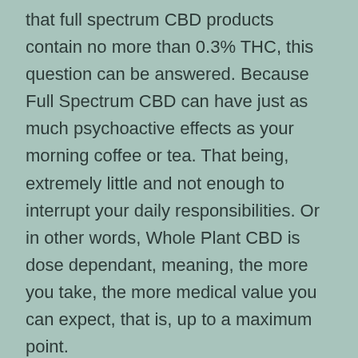that full spectrum CBD products contain no more than 0.3% THC, this question can be answered. Because Full Spectrum CBD can have just as much psychoactive effects as your morning coffee or tea. That being, extremely little and not enough to interrupt your daily responsibilities. Or in other words, Whole Plant CBD is dose dependant, meaning, the more you take, the more medical value you can expect, that is, up to a maximum point.
Now that you know more information between the type types of available CBD, you can make an informed decision on